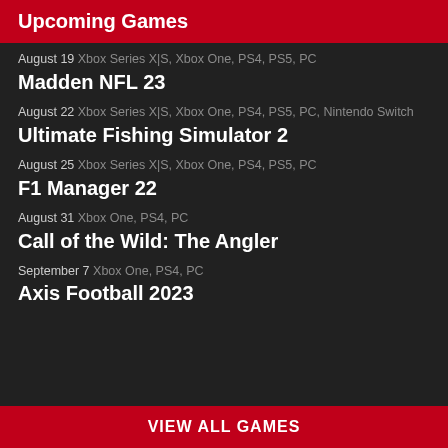Upcoming Games
August 19 Xbox Series X|S, Xbox One, PS4, PS5, PC
Madden NFL 23
August 22 Xbox Series X|S, Xbox One, PS4, PS5, PC, Nintendo Switch
Ultimate Fishing Simulator 2
August 25 Xbox Series X|S, Xbox One, PS4, PS5, PC
F1 Manager 22
August 31 Xbox One, PS4, PC
Call of the Wild: The Angler
September 7 Xbox One, PS4, PC
Axis Football 2023
VIEW ALL GAMES